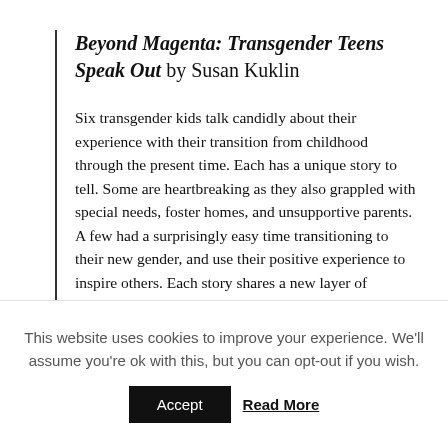Beyond Magenta: Transgender Teens Speak Out by Susan Kuklin
Six transgender kids talk candidly about their experience with their transition from childhood through the present time. Each has a unique story to tell. Some are heartbreaking as they also grappled with special needs, foster homes, and unsupportive parents. A few had a surprisingly easy time transitioning to their new gender, and use their positive experience to inspire others. Each story shares a new layer of understanding of being transgender for those of us still learning. Transgender can be straight or gay, something that always confused me. Male privilege reveals itself to those who went from girl to boy. Body dysmorphia is a separate issue. Bystanders can
This website uses cookies to improve your experience. We'll assume you're ok with this, but you can opt-out if you wish.
Accept   Read More